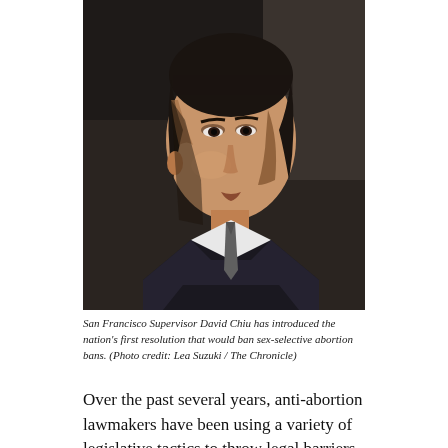[Figure (photo): Portrait photograph of San Francisco Supervisor David Chiu, an Asian-American man in a dark suit and tie, photographed against a dark background in dramatic lighting.]
San Francisco Supervisor David Chiu has introduced the nation's first resolution that would ban sex-selective abortion bans. (Photo credit: Lea Suzuki / The Chronicle)
Over the past several years, anti-abortion lawmakers have been using a variety of legislative tactics to throw legal barriers in front of abortion access; their goal being to